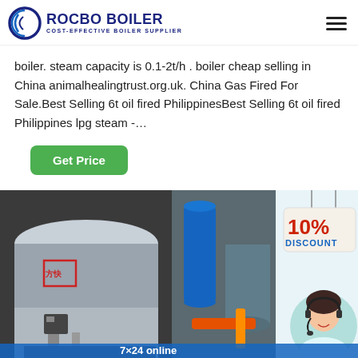ROCBO BOILER — COST-EFFECTIVE BOILER SUPPLIER
boiler. steam capacity is 0.1-2t/h . boiler cheap selling in China animalhealingtrust.org.uk. China Gas Fired For Sale.Best Selling 6t oil fired PhilippinesBest Selling 6t oil fired Philippines lpg steam -…
Get Price
[Figure (photo): Composite image showing industrial boilers (horizontal cylindrical boilers with Chinese characters and logo on the left), industrial piping/equipment in the center, and a promotional '10% DISCOUNT' sign with a woman wearing a headset on the right. Bottom shows '7×24 online' text on a blue banner.]